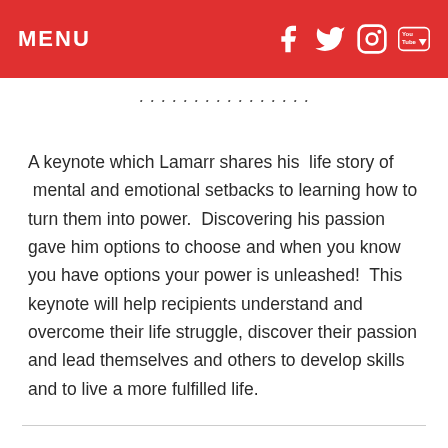MENU
A keynote which Lamarr shares his  life story of  mental and emotional setbacks to learning how to turn them into power.  Discovering his passion gave him options to choose and when you know you have options your power is unleashed!  This keynote will help recipients understand and overcome their life struggle, discover their passion and lead themselves and others to develop skills and to live a more fulfilled life.